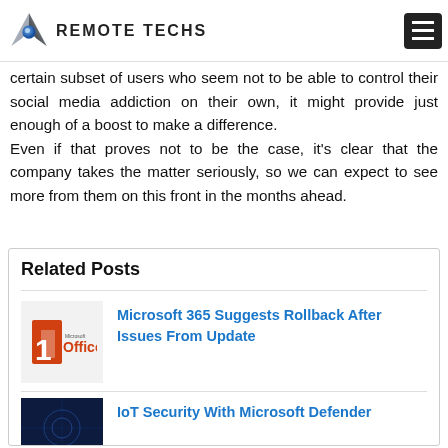REMOTE TECHS
certain subset of users who seem not to be able to control their social media addiction on their own, it might provide just enough of a boost to make a difference. Even if that proves not to be the case, it's clear that the company takes the matter seriously, so we can expect to see more from them on this front in the months ahead.
Related Posts
Microsoft 365 Suggests Rollback After Issues From Update
[Figure (logo): Microsoft Office logo - red and white Office icon with Microsoft wordmark]
IoT Security With Microsoft Defender
[Figure (photo): Dark blue IoT/cybersecurity themed image]